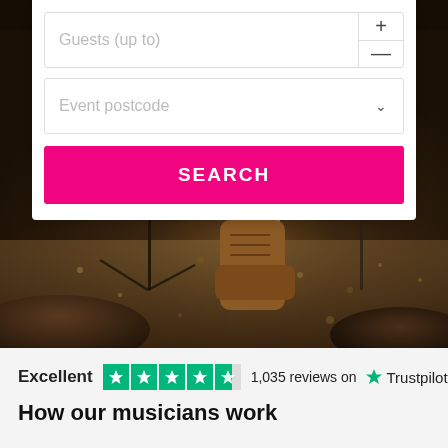[Figure (photo): Dark warm-toned photo of a musician's boot/shoe on a gravel or sandy stage floor with drum equipment and instrument stands visible in the background]
Guests (up to)
Event postcode
SEARCH
Excellent  1,035 reviews on  Trustpilot
How our musicians work